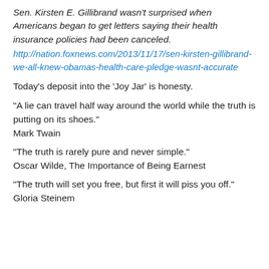Sen. Kirsten E. Gillibrand wasn't surprised when Americans began to get letters saying their health insurance policies had been canceled.
http://nation.foxnews.com/2013/11/17/sen-kirsten-gillibrand-we-all-knew-obamas-health-care-pledge-wasnt-accurate
Today's deposit into the ‘Joy Jar’ is honesty.
“A lie can travel half way around the world while the truth is putting on its shoes.” Mark Twain
“The truth is rarely pure and never simple.” Oscar Wilde, The Importance of Being Earnest
“The truth will set you free, but first it will piss you off.” Gloria Steinem